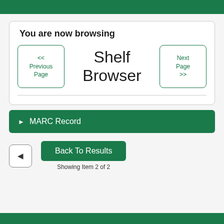You are now browsing
[Figure (screenshot): Shelf Browser navigation UI with Previous Page and Next Page buttons flanking the text 'Shelf Browser']
▶ MARC Record
◄  Back To Results
Showing Item 2 of 2